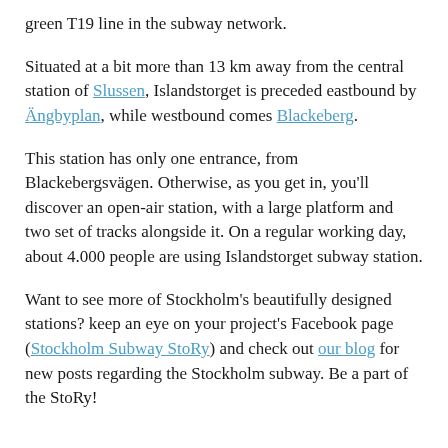green T19 line in the subway network.
Situated at a bit more than 13 km away from the central station of Slussen, Islandstorget is preceded eastbound by Ängbyplan, while westbound comes Blackeberg.
This station has only one entrance, from Blackebergsvägen. Otherwise, as you get in, you'll discover an open-air station, with a large platform and two set of tracks alongside it. On a regular working day, about 4.000 people are using Islandstorget subway station.
Want to see more of Stockholm's beautifully designed stations? keep an eye on your project's Facebook page (Stockholm Subway StoRy) and check out our blog for new posts regarding the Stockholm subway. Be a part of the StoRy!